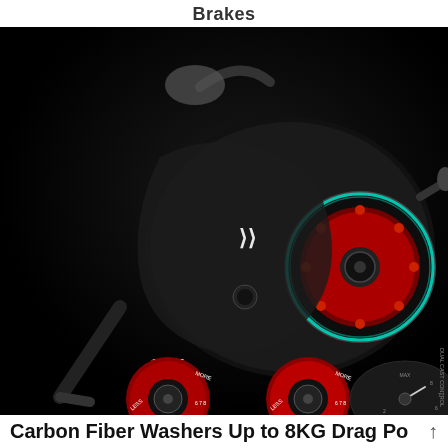Brakes
[Figure (photo): Product photo of a black and red baitcasting fishing reel on a dark background. The reel shows detail of its spool brake system. In the lower left corner, two smaller images show a brake pin toggle labeled 'OFF' and 'ON' with red and black circular brake dial indicators labeled 'LESS', 'MORE'. In the lower right, a close-up of a 'DUAL CAST CONTROL' dial with numbered settings is visible.]
Carbon Fiber Washers Up to 8KG Drag Po ↑